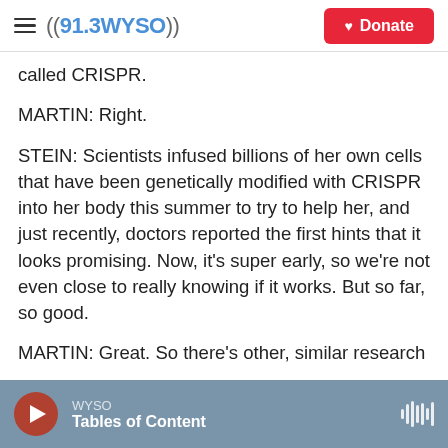((91.3 WYSO)) | Donate
called CRISPR.
MARTIN: Right.
STEIN: Scientists infused billions of her own cells that have been genetically modified with CRISPR into her body this summer to try to help her, and just recently, doctors reported the first hints that it looks promising. Now, it's super early, so we're not even close to really knowing if it works. But so far, so good.
MARTIN: Great. So there's other, similar research
WYSO | Tables of Content